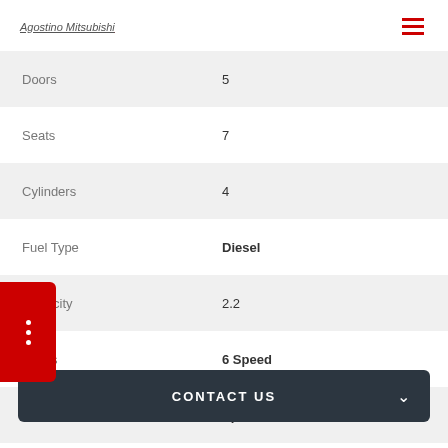Agostino Mitsubishi
| Specification | Value |
| --- | --- |
| Doors | 5 |
| Seats | 7 |
| Cylinders | 4 |
| Fuel Type | Diesel |
| Capacity | 2.2 |
| Gears | 6 Speed |
| Gearbox | Sports Automatic |
| Transmission | Automatic |
CONTACT US